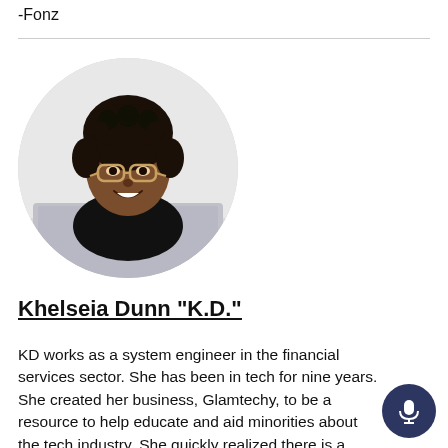-Fonz
[Figure (photo): Circular profile photo of a Black woman with short natural hair and glasses, smiling, with a laptop in front of her.]
Khelseia Dunn "K.D."
KD works as a system engineer in the financial services sector. She has been in tech for nine years. She created her business, Glamtechy, to be a resource to help educate and aid minorities about the tech industry. She quickly realized there is a huge gap for